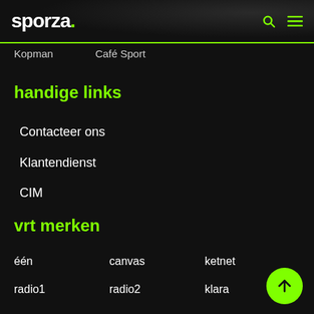sporza.
Kopman
Café Sport
handige links
Contacteer ons
Klantendienst
CIM
vrt merken
één
canvas
ketnet
radio1
radio2
klara